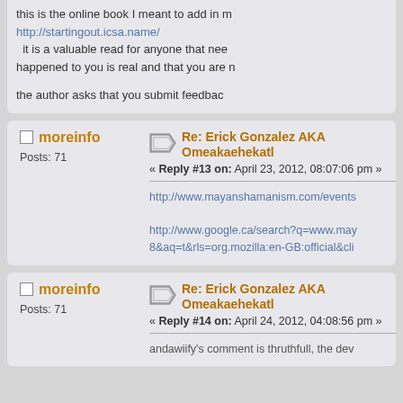this is the online book I meant to add in my
http://startingout.icsa.name/
it is a valuable read for anyone that needs confirmation that what happened to you is real and that you are n
the author asks that you submit feedbac
moreinfo
Posts: 71
Re: Erick Gonzalez AKA Omeakaehekatl
« Reply #13 on: April 23, 2012, 08:07:06 pm »
http://www.mayanshamanism.com/events
http://www.google.ca/search?q=www.may 8&aq=t&rls=org.mozilla:en-GB:official&cli
moreinfo
Posts: 71
Re: Erick Gonzalez AKA Omeakaehekatl
« Reply #14 on: April 24, 2012, 04:08:56 pm »
andawiify's comment is thruthfull, the dev